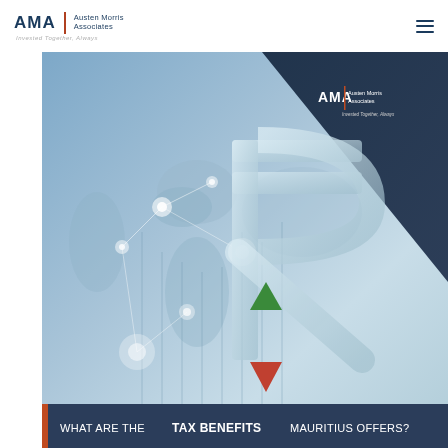[Figure (logo): AMA Austen Morris Associates logo with tagline 'Invested Together, Always']
[Figure (illustration): Full-page background illustration showing a world map with network connections in blue tones, a large Indian Rupee symbol in light blue/white, a green upward triangle arrow and red downward triangle arrow, with AMA logo in top right corner on dark navy background. Bottom banner reads 'WHAT ARE THE TAX BENEFITS MAURITIUS OFFERS?']